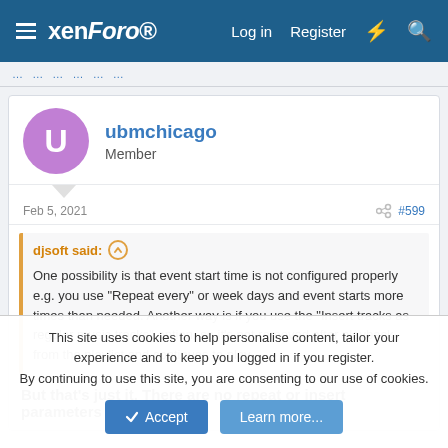xenForo — Log in  Register
ubmchicago
Member
Feb 5, 2021  #599
djsoft said: ↑
One possibility is that event start time is not configured properly e.g. you use "Repeat every" or week days and event starts more times than needed. Another way is if you use the "Insert tracks as regular music tracks" option, so it's not removed after playback from the playlist and continues to play.
But that's just it. There are no repeat or insert parameters
This site uses cookies to help personalise content, tailor your experience and to keep you logged in if you register.
By continuing to use this site, you are consenting to our use of cookies.